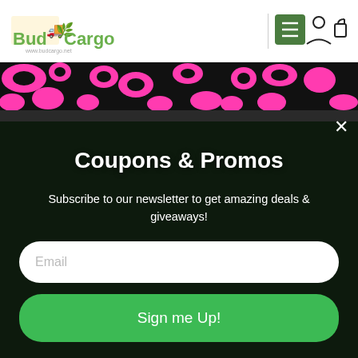[Figure (logo): BudCargo logo with cannabis leaf graphic and delivery truck, green and yellow coloring, www.budcargo.net below]
[Figure (screenshot): Navigation icons: green hamburger menu button, user account icon, shopping bag icon]
[Figure (photo): Pink and black leopard/cow print pattern banner strip]
[Figure (infographic): Dark background with repeating cannabis leaf pattern]
Coupons & Promos
Subscribe to our newsletter to get amazing deals & giveaways!
Email
Sign me Up!